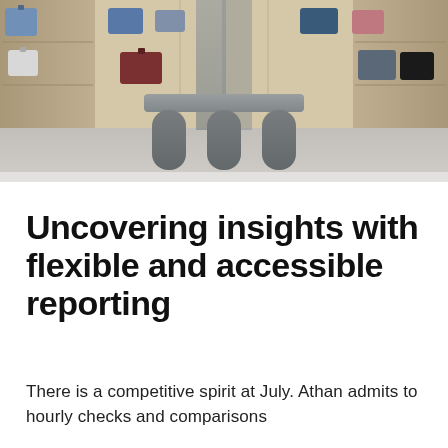[Figure (photo): Interior of a luggage retail store with warm wood shelving displaying various suitcases and travel bags in different colors (blue, maroon, grey, black, pink). A large dark grey sculptural table with rounded arch-shaped legs sits in the center on a light grey floor.]
Uncovering insights with flexible and accessible reporting
There is a competitive spirit at July. Athan admits to hourly checks and comparisons